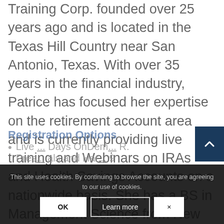Training Corp. founded over 25 years ago and is located in the Texas Hill Country near San Antonio, Texas. With over 35 years in the financial industry, Patrice has focused her expertise on the retirement account area and is currently providing live training and Webinars on IRAs and Health Savings Accounts on a nationwide basis. She has a BS in Management Science from New York's Binghamton University. Many state banking associations and other organizations use her as their main source for training on these complicated topics.
Registration Options
Live ... Days OnDem... Pres... als and Har... 9
This site uses cookies. By continuing to browse the site, you are agreeing to our use of cookies.